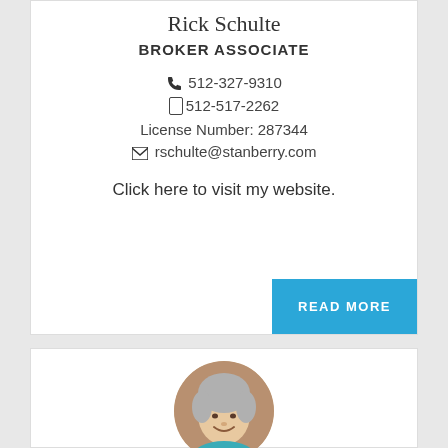Rick Schulte
BROKER ASSOCIATE
📞 512-327-9310
☐ 512-517-2262
License Number: 287344
✉ rschulte@stanberry.com
Click here to visit my website.
READ MORE
[Figure (photo): Circular profile photo of a woman with gray hair, smiling, wearing a teal/blue top, against a brown background]